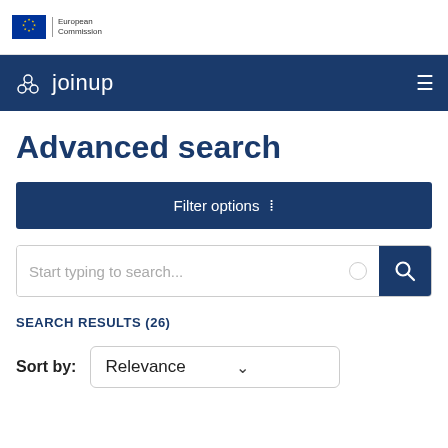[Figure (logo): European Commission logo with EU flag stars and text 'European Commission']
[Figure (logo): Joinup platform logo with gear/network icon and text 'joinup' on dark navy navigation bar]
Advanced search
Filter options
Start typing to search...
SEARCH RESULTS (26)
Sort by: Relevance